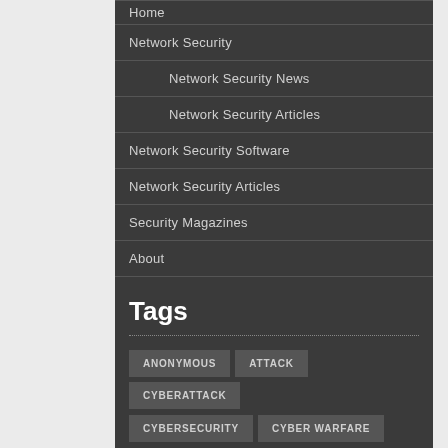Home
Network Security
Network Security News
Network Security Articles
Network Security Software
Network Security Articles
Security Magazines
About
Tags
ANONYMOUS
ATTACK
CYBERATTACK
CYBERSECURITY
CYBER WARFARE